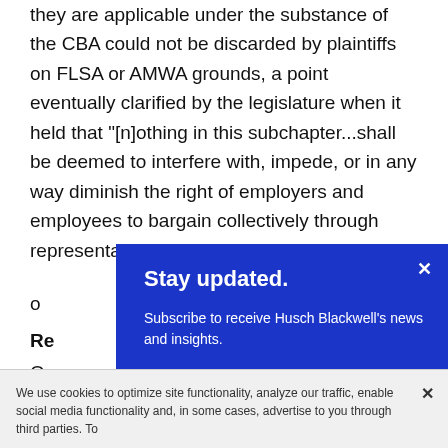they are applicable under the substance of the CBA could not be discarded by plaintiffs on FLSA or AMWA grounds, a point eventually clarified by the legislature when it held that "[n]othing in this subchapter...shall be deemed to interfere with, impede, or in any way diminish the right of employers and employees to bargain collectively through representatives of th... o...
Re...
O...
[Figure (other): Blue modal popup with title 'Stay updated.' and text 'Subscribe to receive Husch Blackwell's news and insights.' with a close button (x) in top right corner.]
We use cookies to optimize site functionality, analyze our traffic, enable social media functionality and, in some cases, advertise to you through third parties. To